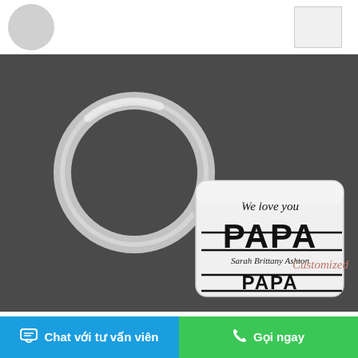[Figure (photo): Product photo of a silver keychain with a rectangular metal tag engraved with 'We love you PAPA Sarah Brittany Ashton', attached to a round silver key ring, on a dark textured background. A 'Customized' pink label is in the bottom right corner.]
Customized
Chat với tư vấn viên
Gọi ngay